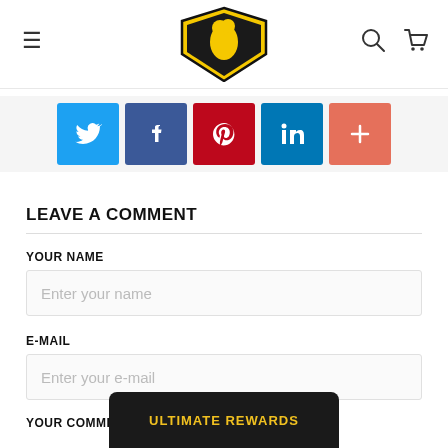[Figure (logo): Ultimate SUP logo — yellow and black muscular figure with shield shape and text ULTIMATE SUP]
[Figure (infographic): Five social sharing buttons: Twitter (blue), Facebook (dark blue), Pinterest (red), LinkedIn (light blue), More/Plus (salmon/orange-red)]
LEAVE A COMMENT
YOUR NAME
Enter your name
E-MAIL
Enter your e-mail
YOUR COMMENT
[Figure (screenshot): Ultimate Rewards dark popup bar at the bottom center of the page]